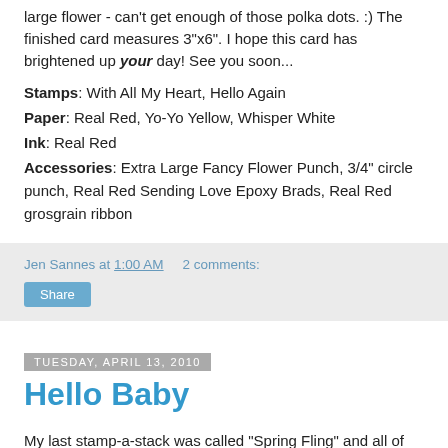large flower - can't get enough of those polka dots. :) The finished card measures 3"x6". I hope this card has brightened up your day! See you soon...
Stamps: With All My Heart, Hello Again
Paper: Real Red, Yo-Yo Yellow, Whisper White
Ink: Real Red
Accessories: Extra Large Fancy Flower Punch, 3/4" circle punch, Real Red Sending Love Epoxy Brads, Real Red grosgrain ribbon
Jen Sannes at 1:00 AM   2 comments:
Share
Tuesday, April 13, 2010
Hello Baby
My last stamp-a-stack was called "Spring Fling" and all of the cards focused on springtime events. I thought it would be fun to make a baby card with the Fox & Friends set... I just love